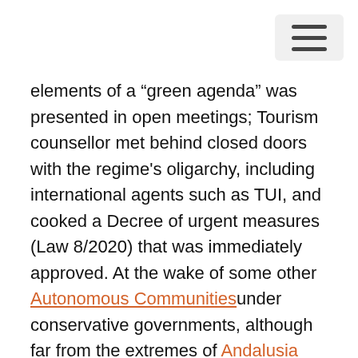[navigation bar with hamburger menu]
elements of a “green agenda” was presented in open meetings; Tourism counsellor met behind closed doors with the regime's oligarchy, including international agents such as TUI, and cooked a Decree of urgent measures (Law 8/2020) that was immediately approved. At the wake of some other Autonomous Communities under conservative governments, although far from the extremes of Andalusia and Madrid, it entailed a huge regulatory relaxation, including the possibility of expanding tourist establishments, or building without a license, among other measures. To make up for this strategy focused on construction and promoted with delusional predictions, the executive was forced to approve a Decree (9/2020) of territorial protection, also sold with unrealistic figures, as it was then denounced by the environmental NGO Terraferida. While the islands